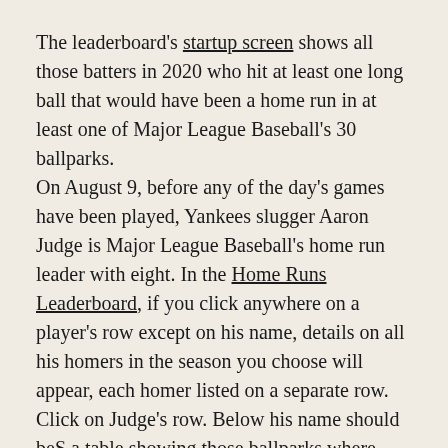The leaderboard's startup screen shows all those batters in 2020 who hit at least one long ball that would have been a home run in at least one of Major League Baseball's 30 ballparks.
On August 9, before any of the day's games have been played, Yankees slugger Aaron Judge is Major League Baseball's home run leader with eight. In the Home Runs Leaderboard, if you click anywhere on a player's row except on his name, details on all his homers in the season you choose will appear, each homer listed on a separate row.
Click on Judge's row. Below his name should beS a table showing those ballparks where each long ball that Judge hit on the given date will be a homer. For example, on August 8 in Tampa